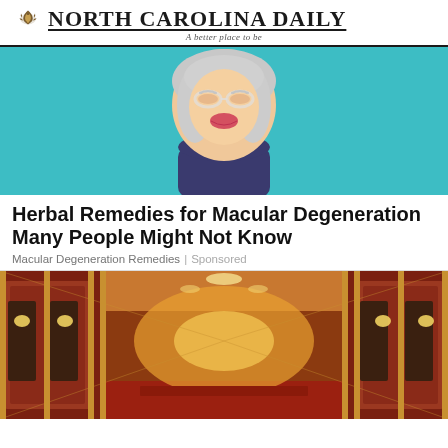NORTH CAROLINA DAILY — A better place to be
[Figure (illustration): Cartoon illustration of an elderly woman with grey hair and a navy shirt on a teal/cyan background]
Herbal Remedies for Macular Degeneration Many People Might Not Know
Macular Degeneration Remedies | Sponsored
[Figure (photo): Photo of an ornate hotel or cruise ship corridor with red walls, dark wood doors, gold trim, and warm lighting]